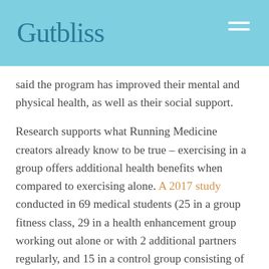Gutbliss
said the program has improved their mental and physical health, as well as their social support.
Research supports what Running Medicine creators already know to be true – exercising in a group offers additional health benefits when compared to exercising alone. A 2017 study conducted in 69 medical students (25 in a group fitness class, 29 in a health enhancement group working out alone or with 2 additional partners regularly, and 15 in a control group consisting of no regular exercise) showed that those participating in the group fitness class over a 12-week period experienced